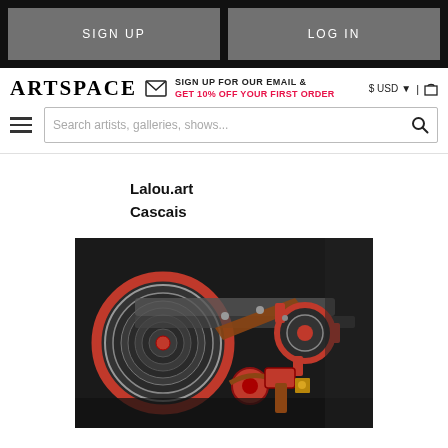SIGN UP | LOG IN
ARTSPACE | SIGN UP FOR OUR EMAIL & GET 10% OFF YOUR FIRST ORDER | $ USD | cart
Search artists, galleries, shows...
Lalou.art
Cascais
[Figure (photo): Close-up photograph of industrial machinery with red wheels, gears, belts and mechanical components against a dark background]